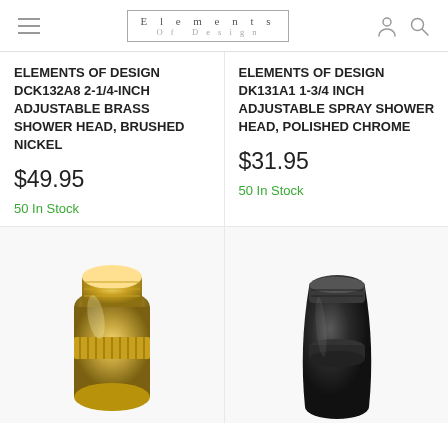Elements Of Design (logo)
ELEMENTS OF DESIGN DCK132A8 2-1/4-INCH ADJUSTABLE BRASS SHOWER HEAD, BRUSHED NICKEL
$49.95
50 In Stock
ELEMENTS OF DESIGN DK131A1 1-3/4 INCH ADJUSTABLE SPRAY SHOWER HEAD, POLISHED CHROME
$31.95
50 In Stock
[Figure (photo): Brass/gold shower head product photo, bottom portion visible]
[Figure (photo): Dark/black shower head product photo, bottom portion visible]